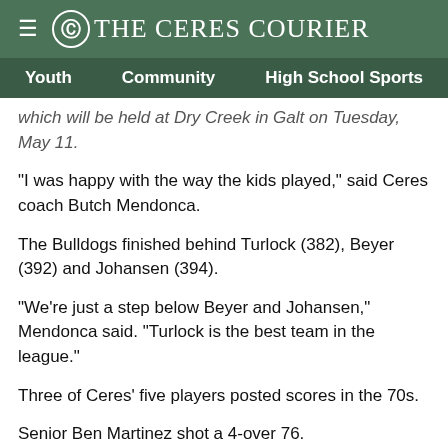The Ceres Courier
Youth   Community   High School Sports
which will be held at Dry Creek in Galt on Tuesday, May 11.
"I was happy with the way the kids played," said Ceres coach Butch Mendonca.
The Bulldogs finished behind Turlock (382), Beyer (392) and Johansen (394).
"We're just a step below Beyer and Johansen," Mendonca said. "Turlock is the best team in the league."
Three of Ceres' five players posted scores in the 70s.
Senior Ben Martinez shot a 4-over 76.